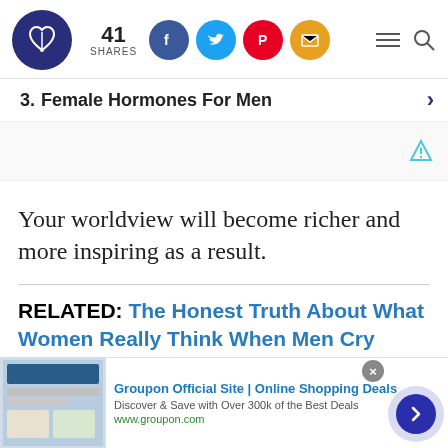41 SHARES [social share icons: Facebook, Twitter, Pinterest, Email] [menu and search icons]
3. Female Hormones For Men
[Figure (other): Advertisement placeholder area with a small triangular ad icon in teal/cyan color on the right side]
Your worldview will become richer and more inspiring as a result.
RELATED: The Honest Truth About What Women Really Think When Men Cry
[Figure (other): Bottom banner advertisement for Groupon Official Site | Online Shopping Deals. Text: Discover & Save with Over 300k of the Best Deals. www.groupon.com. Has a close (x) button and a blue next arrow button.]